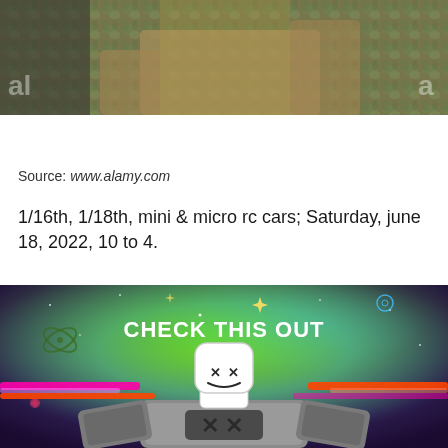[Figure (photo): Close-up photo of a person in an ornate peacock-patterned dress or top, holding something, with an Alamy watermark visible. Dark banner at bottom shows Alamy logo, Image ID: PS1869, and www.alamy.com]
Source: www.alamy.com
1/16th, 1/18th, mini & micro rc cars; Saturday, june 18, 2022, 10 to 4.
[Figure (illustration): Animated illustration of a DJ Marshmello character with a white marshmallow head with X eyes, sitting at a DJ booth with speakers on each side. Colorful laser lights beam outward. Text reads CHECK THIS OUT against a colorful starfield background.]